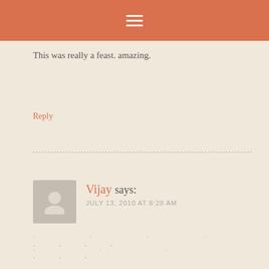≡
This was really a feast. amazing.
Reply
Vijay says:
JULY 13, 2010 AT 8:28 AM
Reply
Vijay says:
JULY 13, 2010 AT 8:30 AM